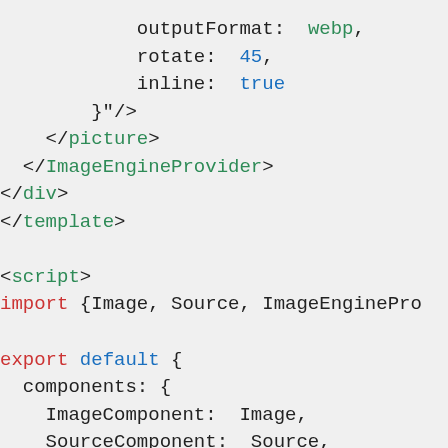outputFormat: webp ,
            rotate: 45,
            inline: true
        }"/>
    </picture>
  </ImageEngineProvider>
</div>
</template>

<script>
import {Image, Source, ImageEnginePro

export default {
  components: {
    ImageComponent: Image,
    SourceComponent: Source,